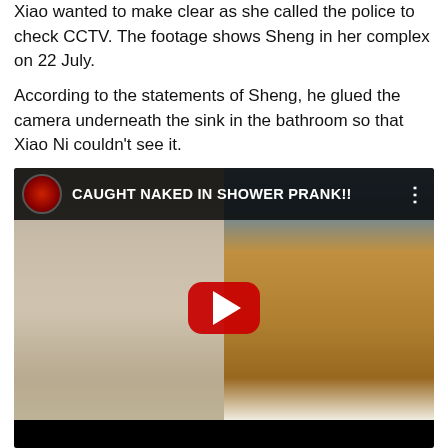Xiao wanted to make clear as she called the police to check CCTV. The footage shows Sheng in her complex on 22 July.
According to the statements of Sheng, he glued the camera underneath the sink in the bathroom so that Xiao Ni couldn't see it.
[Figure (screenshot): YouTube video thumbnail screenshot titled 'CAUGHT NAKED IN SHOWER PRANK!!' showing a split scene: on the left, a woman wrapped in a white towel in a bathroom, and on the right, a man in a blue cap and grey ARMY hoodie holding a phone near a doorway. A YouTube play button (red with white triangle) is centered over the image. A dark top bar shows a channel avatar and the video title.]